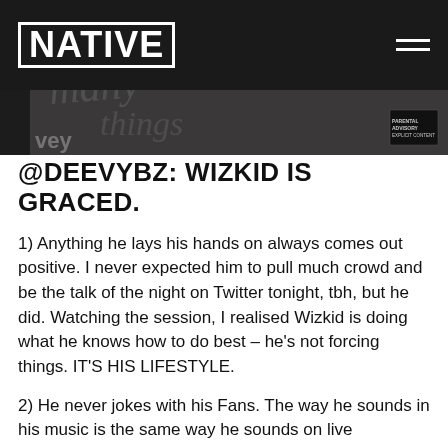[Figure (photo): Dark header with NATIVE logo in white bold text on left, hamburger menu icon on right, album artwork visible in background]
@DEEVYBZ: WIZKID IS GRACED.
1) Anything he lays his hands on always comes out positive. I never expected him to pull much crowd and be the talk of the night on Twitter tonight, tbh, but he did. Watching the session, I realised Wizkid is doing what he knows how to do best – he's not forcing things. IT'S HIS LIFESTYLE.
2) He never jokes with his Fans. The way he sounds in his music is the same way he sounds on live performance. That shows how real and pure his songs are.
3) And Lastly HE'S THE BEST AFRICAN ARTIST